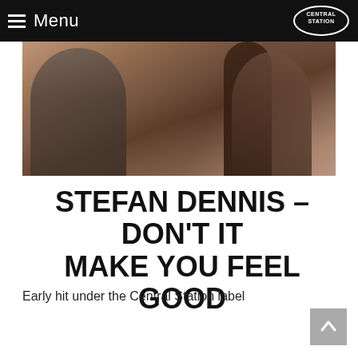≡ Menu | CENTRAL STATION
[Figure (photo): Blurry close-up photo of a person or persons, dimly lit, dark hair visible, warm brownish tones]
STEFAN DENNIS – DON'T IT MAKE YOU FEEL GOOD
Early hit under the Central Station label